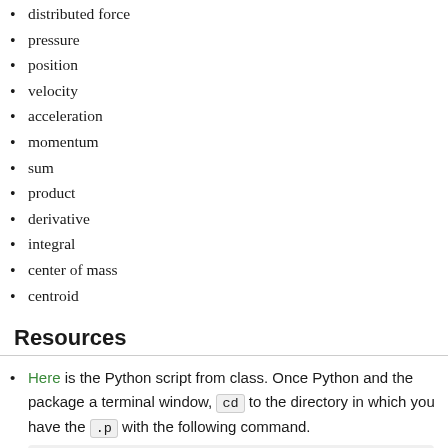distributed force
pressure
position
velocity
acceleration
momentum
sum
product
derivative
integral
center of mass
centroid
Resources
Here is the Python script from class. Once Python and the package a terminal window, cd to the directory in which you have the .p with the following command.
python3 solve_symbolic_system.py